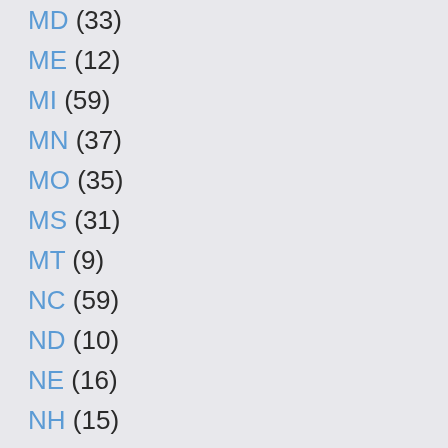MD (33)
ME (12)
MI (59)
MN (37)
MO (35)
MS (31)
MT (9)
NC (59)
ND (10)
NE (16)
NH (15)
NJ (55)
NM (17)
NV (17)
NY (40)
OH (54)
OK (37)
OR (40)
PA (39)